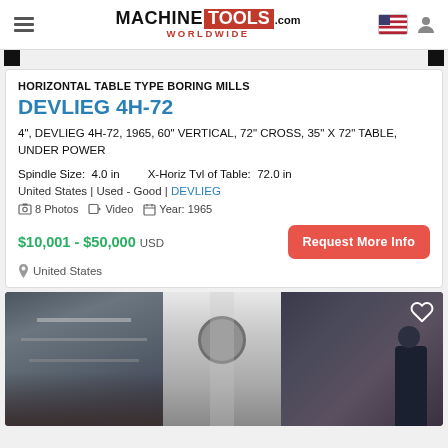MACHINE TOOLS .com WORLDWIDE
HORIZONTAL TABLE TYPE BORING MILLS
DEVLIEG 4H-72
4", DEVLIEG 4H-72, 1965, 60" VERTICAL, 72" CROSS, 35" X 72" TABLE, UNDER POWER
Spindle Size:  4.0 in     X-Horiz Tvl of Table:  72.0 in
United States | Used - Good | DEVLIEG
8 Photos   Video   Year: 1965
$10,001 - $50,000 USD
United States
[Figure (photo): Photo of a DEVLIEG 4H-72 horizontal table type boring mill machine in a workshop setting, showing a man operating the machine]